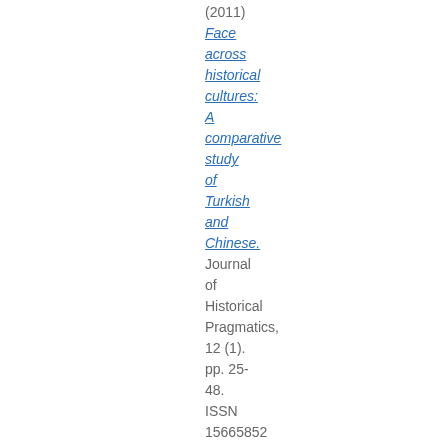(2011) Face across historical cultures: A comparative study of Turkish and Chinese. Journal of Historical Pragmatics, 12 (1). pp. 25-48. ISSN 15665852